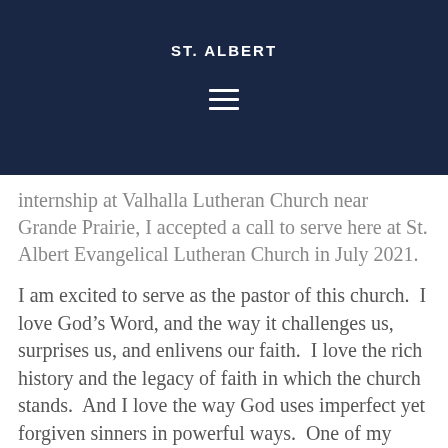ST. ALBERT
internship at Valhalla Lutheran Church near Grande Prairie, I accepted a call to serve here at St. Albert Evangelical Lutheran Church in July 2021.
I am excited to serve as the pastor of this church.  I love God’s Word, and the way it challenges us, surprises us, and enlivens our faith.  I love the rich history and the legacy of faith in which the church stands.  And I love the way God uses imperfect yet forgiven sinners in powerful ways.  One of my favorite quotes is from C.S. Lewis, who writes, “How monotonously alike all the great tyrants and